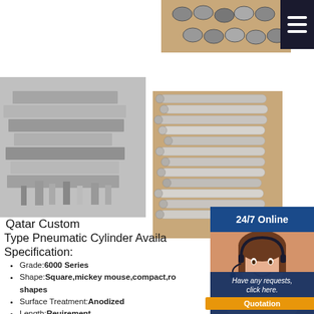[Figure (photo): Top view of cylindrical metal rods/tubes arranged on a tan/wooden background]
[Figure (photo): Hamburger menu icon (three white lines on dark background)]
[Figure (photo): Stack of aluminum extrusion profiles showing various cross-sections]
[Figure (photo): Side view of multiple silver cylindrical aluminum tubes/rods arranged on tan background]
24/7 Online
Qatar Custom
Type Pneumatic Cylinder Available Specification:
Grade: 6000 Series
Shape: Square,mickey mouse,compact,round shapes
Surface Treatment: Anodized
Length: Reuirement
Usage: Decoration
Hardness: HB>95
Alloy Or Not: s Alloy
[Figure (photo): Customer service representative woman with headset smiling]
Have any requests, click here.
Quotation